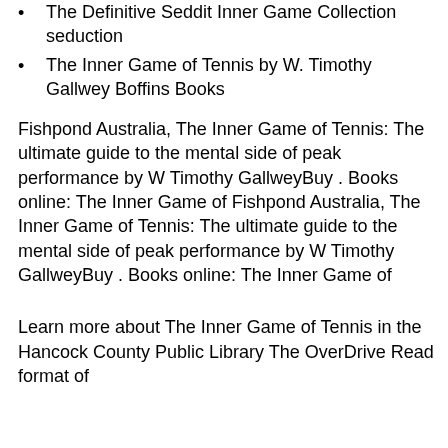The Definitive Seddit Inner Game Collection seduction
The Inner Game of Tennis by W. Timothy Gallwey Boffins Books
Fishpond Australia, The Inner Game of Tennis: The ultimate guide to the mental side of peak performance by W Timothy GallweyBuy . Books online: The Inner Game of Fishpond Australia, The Inner Game of Tennis: The ultimate guide to the mental side of peak performance by W Timothy GallweyBuy . Books online: The Inner Game of
Learn more about The Inner Game of Tennis in the Hancock County Public Library The OverDrive Read format of